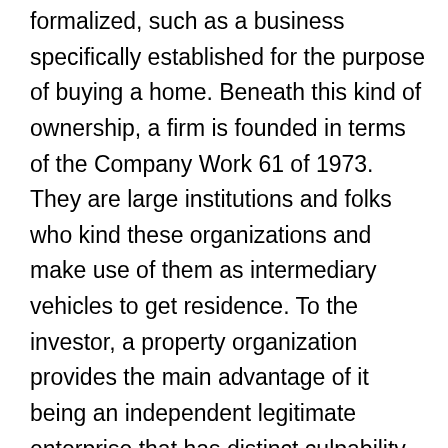formalized, such as a business specifically established for the purpose of buying a home. Beneath this kind of ownership, a firm is founded in terms of the Company Work 61 of 1973. They are large institutions and folks who kind these organizations and make use of them as intermediary vehicles to get residence. To the investor, a property organization provides the main advantage of it being an independent legitimate enterprise that has distinct culpability by reviewing the shareholders. Home businesses are usually sizeable entities that are mostly listed on the Stock Swap.